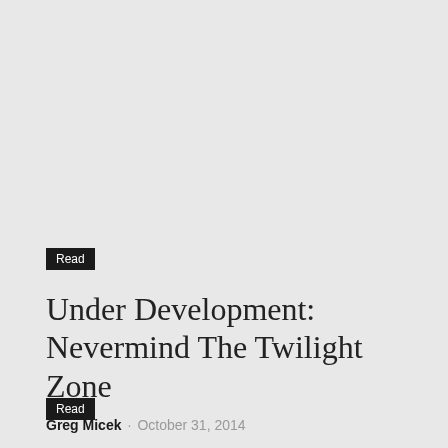Read
Under Development: Nevermind The Twilight Zone
Greg Micek · October 31, 2014
Read